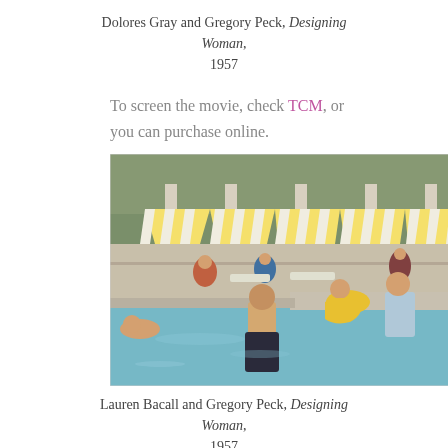Dolores Gray and Gregory Peck, Designing Woman, 1957
To screen the movie, check TCM, or you can purchase online.
[Figure (photo): Color photograph of people at a swimming pool with yellow and white striped tent cabanas in the background. Several people in swimwear are at the pool edge; a woman in a yellow swimsuit sits on the pool ledge talking to a man in light blue clothing, while a shirtless man stands in the water. Film still from Designing Woman, 1957.]
Lauren Bacall and Gregory Peck, Designing Woman, 1957